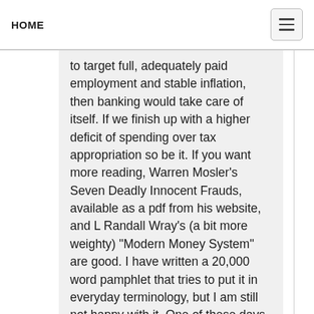HOME
to target full, adequately paid employment and stable inflation, then banking would take care of itself. If we finish up with a higher deficit of spending over tax appropriation so be it. If you want more reading, Warren Mosler’s Seven Deadly Innocent Frauds, available as a pdf from his website, and L Randall Wray’s (a bit more weighty) “Modern Money System” are good. I have written a 20,000 word pamphlet that tries to put it in everyday terminology, but I am still not happy with it. One of these days it might be on Kindle, but don’t hold your breath.